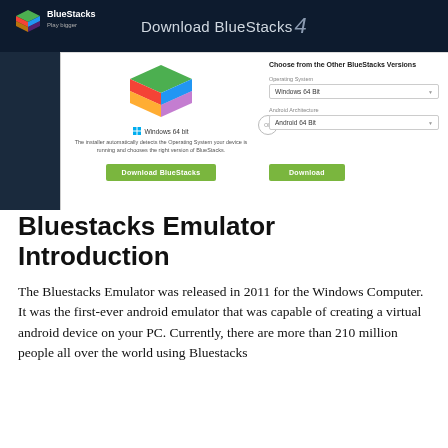[Figure (screenshot): Screenshot of BlueStacks website showing the Download BlueStacks 4 page with logo, download button, and version selection dropdowns for Operating System (Windows 64 Bit) and Android Architecture (Android 64 Bit)]
Bluestacks Emulator Introduction
The Bluestacks Emulator was released in 2011 for the Windows Computer. It was the first-ever android emulator that was capable of creating a virtual android device on your PC. Currently, there are more than 210 million people all over the world using Bluestacks